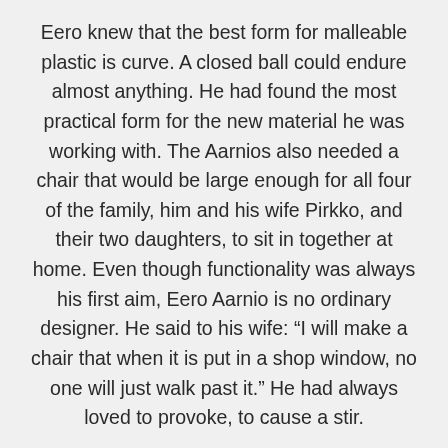Eero knew that the best form for malleable plastic is curve. A closed ball could endure almost anything. He had found the most practical form for the new material he was working with. The Aarnios also needed a chair that would be large enough for all four of the family, him and his wife Pirkko, and their two daughters, to sit in together at home. Even though functionality was always his first aim, Eero Aarnio is no ordinary designer. He said to his wife: “I will make a chair that when it is put in a shop window, no one will just walk past it.” He had always loved to provoke, to cause a stir.